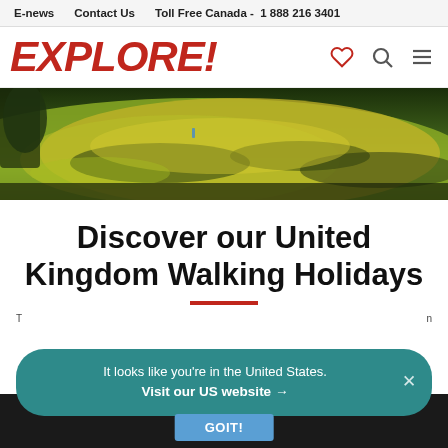E-news   Contact Us   Toll Free Canada -  1 888 216 3401
EXPLORE!
[Figure (photo): Aerial/landscape view of sunlit green and golden grassy hills with shadows, a person visible in background]
Discover our United Kingdom Walking Holidays
It looks like you're in the United States. Visit our US website →
GOIT!